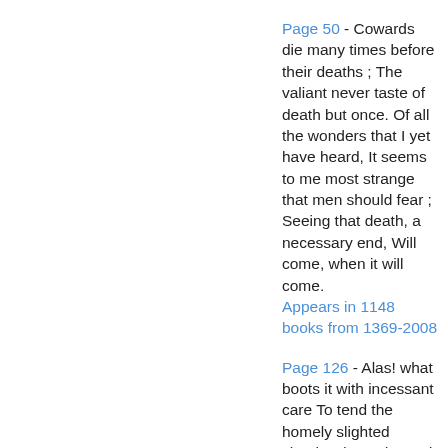Page 50 - Cowards die many times before their deaths ; The valiant never taste of death but once. Of all the wonders that I yet have heard, It seems to me most strange that men should fear ; Seeing that death, a necessary end, Will come, when it will come. Appears in 1148 books from 1369-2008
Page 126 - Alas! what boots it with incessant care To tend the homely slighted shepherd's trade, And strictly meditate the thankless Muse? Were it not better done as others use, To